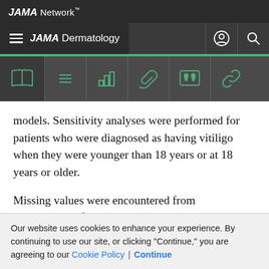JAMA Network
JAMA Dermatology
[Figure (screenshot): JAMA Dermatology navigation toolbar with icons: open book, menu/list, bar chart, paperclip, quote, link]
models. Sensitivity analyses were performed for patients who were diagnosed as having vitiligo when they were younger than 18 years or at 18 years or older.
Missing values were encountered from nonresponse of patients to various questions (see eTable 1 in the Supplement for response rates). Complete case analysis was performed, that is, missing values were ignored throughout the study. P<.05 was taken to indicate
Our website uses cookies to enhance your experience. By continuing to use our site, or clicking "Continue," you are agreeing to our Cookie Policy | Continue